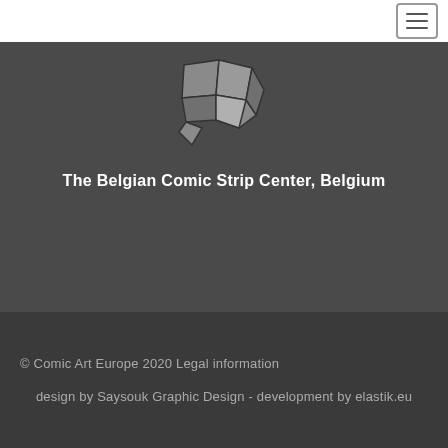[Figure (logo): Comic speech bubble logo made of geometric puzzle-like segments in grey tones]
The Belgian Comic Strip Center, Belgium
© Comic Art Europe 2020 Legal information
design by Saysouk Graphic Design - development by elastik.eu